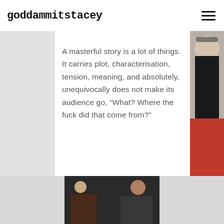goddammitstacey
A masterful story is a lot of things. It carries plot, characterisation, tension, meaning, and absolutely, unequivocally does not make its audience go, “What? Where the fuck did that come from?”
[Figure (photo): Partial view of a woman with blonde hair wearing sunglasses and a black top with red skirt, cropped on the right side of the page]
[Figure (photo): Two people facing each other in a dark setting, appearing to be a scene from a film or TV show]